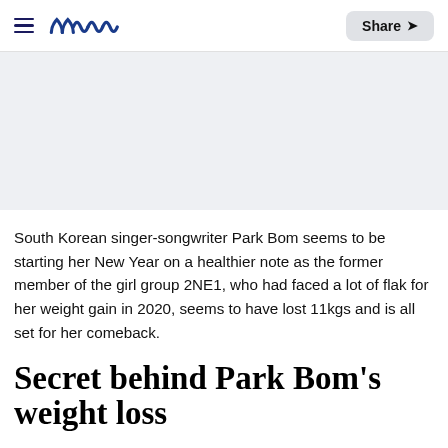meaww — Share
[Figure (other): Light gray banner/advertisement placeholder area]
South Korean singer-songwriter Park Bom seems to be starting her New Year on a healthier note as the former member of the girl group 2NE1, who had faced a lot of flak for her weight gain in 2020, seems to have lost 11kgs and is all set for her comeback.
Secret behind Park Bom's weight loss